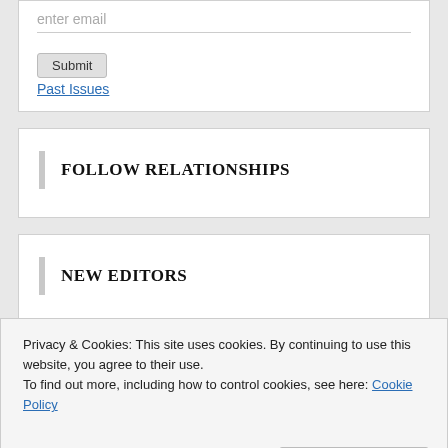enter email
Submit
Past Issues
FOLLOW RELATIONSHIPS
NEW EDITORS
African American Lit
Privacy & Cookies: This site uses cookies. By continuing to use this website, you agree to their use.
To find out more, including how to control cookies, see here: Cookie Policy
Close and accept
Dreams